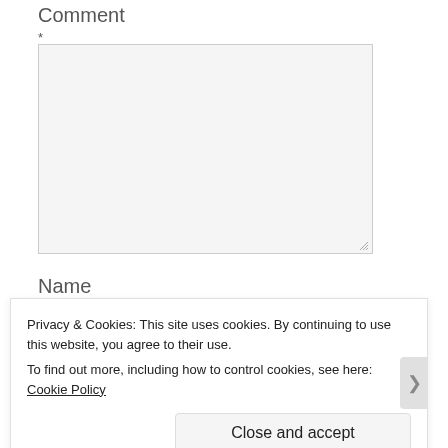Comment
*
[Figure (other): Empty comment text area input box with resize handle]
Name
Privacy & Cookies: This site uses cookies. By continuing to use this website, you agree to their use.
To find out more, including how to control cookies, see here: Cookie Policy
Close and accept